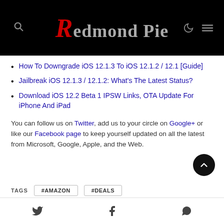Redmond Pie
How To Downgrade iOS 12.1.3 To iOS 12.1.2 / 12.1 [Guide]
Jailbreak iOS 12.1.3 / 12.1.2: What's The Latest Status?
Download iOS 12.2 Beta 1 IPSW Links, OTA Update For iPhone And iPad
You can follow us on Twitter, add us to your circle on Google+ or like our Facebook page to keep yourself updated on all the latest from Microsoft, Google, Apple, and the Web.
TAGS  #AMAZON  #DEALS